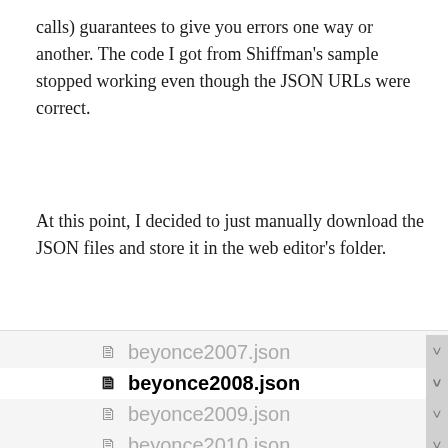calls) guarantees to give you errors one way or another. The code I got from Shiffman's sample stopped working even though the JSON URLs were correct.
At this point, I decided to just manually download the JSON files and store it in the web editor's folder.
[Figure (screenshot): A file browser screenshot showing four JSON files: beyonce2007.json, beyonce2008.json (selected/bold), beyonce2009.json, beyonce2010.json, with file icons and a scrollbar on the right.]